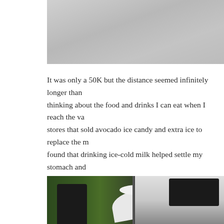[Figure (photo): Top portion of a photo showing a light gray textured surface, likely a road or ground]
It was only a 50K but the distance seemed infinitely longer than thinking about the food and drinks I can eat when I reach the various stores that sold avocado ice candy and extra ice to replace the m found that drinking ice-cold milk helped settle my stomach and Drinking the Zest-O Dalandan Fruit Soda was also a good idea. who not only monitored what I ate and drank, but also patiently While Richard and the other support crews also tried to help oth self-supported participants bought theirs from the various sari-s
[Figure (photo): Photo showing a person in a white shirt and cap near a white SUV/van, with green vegetation in the background]